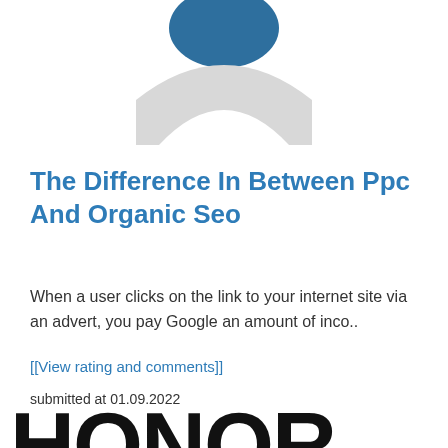[Figure (logo): Partial view of a logo with a blue teardrop/circle shape at top and a grey arch/horseshoe shape below it, centered on white background]
The Difference In Between Ppc And Organic Seo
When a user clicks on the link to your internet site via an advert, you pay Google an amount of inco..
[[View rating and comments]]
submitted at 01.09.2022
[Figure (logo): The word HONOR in large bold black letters, partially cropped at bottom of page]